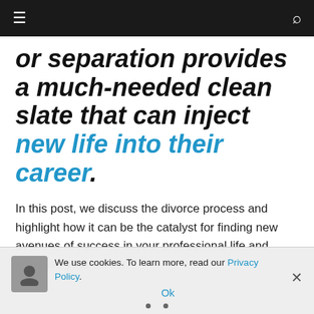Navigation bar with hamburger menu and search icon
or separation provides a much-needed clean slate that can inject new life into their career.
In this post, we discuss the divorce process and highlight how it can be the catalyst for finding new avenues of success in your professional life and revitalise your career.
We use cookies. To learn more, read our Privacy Policy. Ok